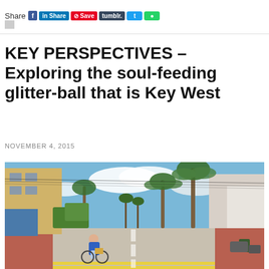Share
KEY PERSPECTIVES – Exploring the soul-feeding glitter-ball that is Key West
NOVEMBER 4, 2015
[Figure (photo): A street scene in Key West with a person cycling on a wide road lined with palm trees, tropical vegetation, and colorful buildings under a blue sky with clouds.]